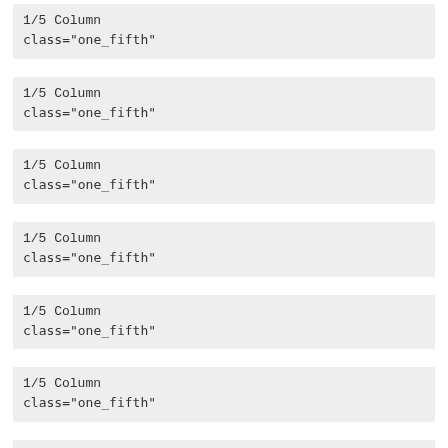1/5 Column
class="one_fifth"
1/5 Column
class="one_fifth"
1/5 Column
class="one_fifth"
1/5 Column
class="one_fifth"
1/5 Column
class="one_fifth"
1/5 Column
class="one_fifth"
1/5 Column
class="one_fifth"